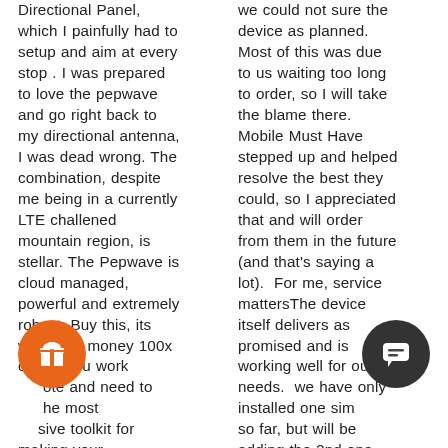Directional Panel, which I painfully had to setup and aim at every stop . I was prepared to love the pepwave and go right back to my directional antenna, I was dead wrong. The combination, despite me being in a currently LTE challened mountain region, is stellar. The Pepwave is cloud managed, powerful and extremely robust. Buy this, its worth the money 100x over if you work remote and need to have the most aggressive toolkit for making your
we could not sure the device as planned. Most of this was due to us waiting too long to order, so I will take the blame there. Mobile Must Have stepped up and helped resolve the best they could, so I appreciated that and will order from them in the future (and that's saying a lot). For me, service mattersThe device itself delivers as promised and is working well for our needs. we have only installed one sim so far, but will be adding the 2nd one soon. Overall we are
[Figure (other): Orange circular button with a gift/present icon]
[Figure (other): Dark circular chat bubble button with message icon]